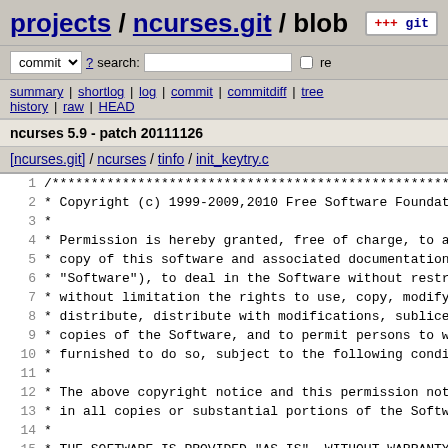projects / ncurses.git / blob
commit ? search: re
summary | shortlog | log | commit | commitdiff | tree history | raw | HEAD
ncurses 5.9 - patch 20111126
[ncurses.git] / ncurses / tinfo / init_keytry.c
1  /***...
2   * Copyright (c) 1999-2009,2010 Free Software Foundatio...
3   *
4   * Permission is hereby granted, free of charge, to any...
5   * copy of this software and associated documentation f...
6   * "Software"), to deal in the Software without restric...
7   * without limitation the rights to use, copy, modify,...
8   * distribute, distribute with modifications, sublicens...
9   * copies of the Software, and to permit persons to who...
10  * furnished to do so, subject to the following conditi...
11  *
12  * The above copyright notice and this permission notic...
13  * in all copies or substantial portions of the Softwar...
14  *
15  * THE SOFTWARE IS PROVIDED "AS IS", WITHOUT WARRANTY O...
16  * OR IMPLIED, INCLUDING BUT NOT LIMITED TO THE WARRANT...
17  * MERCHANTABILITY, FITNESS FOR A PARTICULAR PURPOSE AN...
18  * IN NO EVENT SHALL THE ABOVE COPYRIGHT HOLDERS BE LIA...
19  * DAMAGES OR OTHER LIABILITY, WHETHER IN AN ACTION OF...